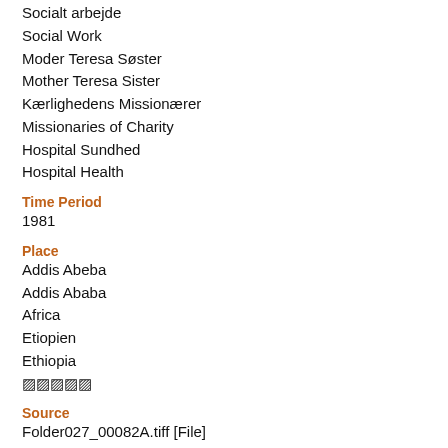Socialt arbejde
Social Work
Moder Teresa Søster
Mother Teresa Sister
Kærlighedens Missionærer
Missionaries of Charity
Hospital Sundhed
Hospital Health
Time Period
1981
Place
Addis Abeba
Addis Ababa
Africa
Etiopien
Ethiopia
🇪🇹🇪🇹🇪🇹
Source
Folder027_00082A.tiff [File]